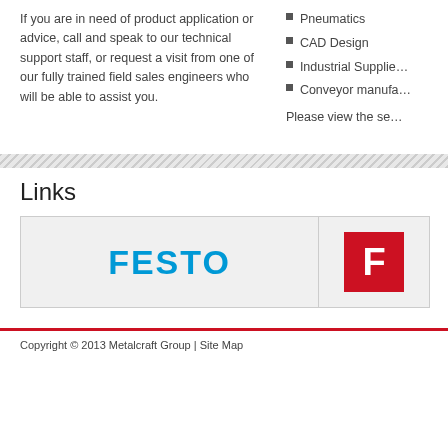If you are in need of product application or advice, call and speak to our technical support staff, or request a visit from one of our fully trained field sales engineers who will be able to assist you.
Pneumatics
CAD Design
Industrial Supplie…
Conveyor manufa…
Please view the se…
Links
[Figure (logo): Festo logo in blue bold text on light grey background]
[Figure (logo): Partial logo with red background and white letter F]
Copyright © 2013 Metalcraft Group | Site Map